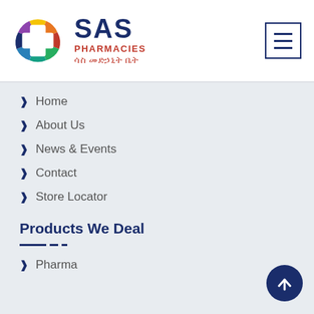[Figure (logo): SAS Pharmacies logo: colorful circular icon with cross symbol and multicolored segments, next to text 'SAS PHARMACIES' in dark navy blue, with Amharic text below in red]
Home
About Us
News & Events
Contact
Store Locator
Products We Deal
Pharma